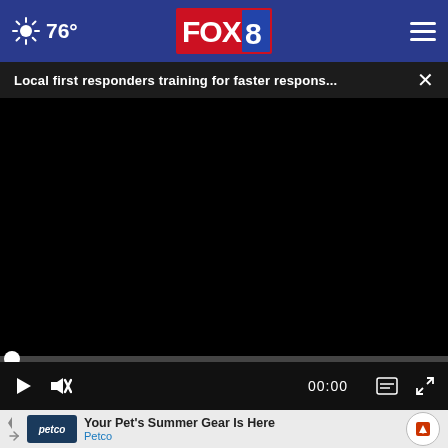76° FOX 8
Local first responders training for faster respons...
[Figure (screenshot): Black video player area showing paused video]
00:00
[Figure (photo): Partial photo visible behind advertisement overlay showing bottles/containers]
Your Pet's Summer Gear Is Here — Petco